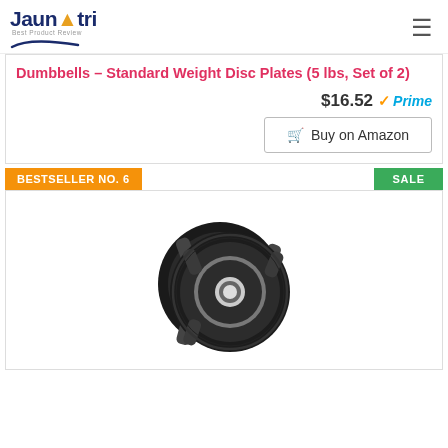Jaunatri - Best Product Review
Dumbbells – Standard Weight Disc Plates (5 lbs, Set of 2)
$16.52 Prime
Buy on Amazon
BESTSELLER NO. 6
SALE
[Figure (photo): Two black rubber-coated tri-grip Olympic weight plates (barbell/dumbbell disc plates) shown overlapping, with chrome center holes and three grip handles.]